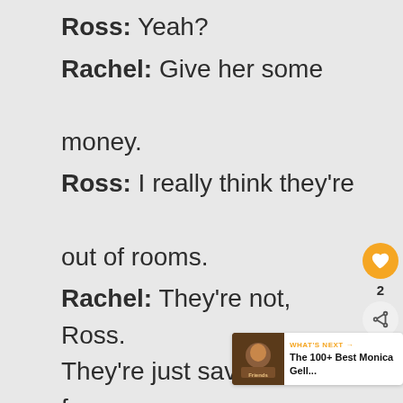Ross: Yeah?
Rachel: Give her some money.
Ross: I really think they’re out of rooms.
Rachel: They’re not, Ross. They’re just saving them for important people. What if I was the president?
Ross: Well, then we’d be a lot of trouble. You don’t